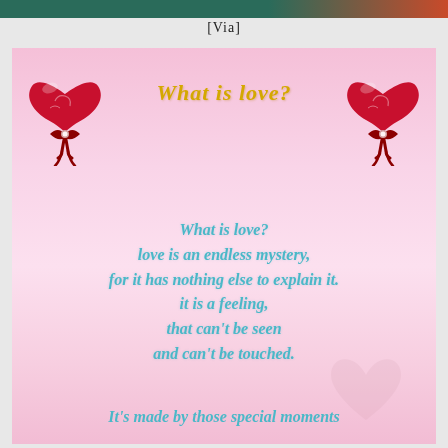[Via]
[Figure (illustration): Valentine card with pink gradient background, two red hearts with ribbons in top corners, gold cursive title 'What is love?', and blue cursive poem text reading: What is love? love is an endless mystery, for it has nothing else to explain it. it is a feeling, that can't be seen and can't be touched. Partially visible bottom line: It's made by those special moments...]
It's made by those special moments